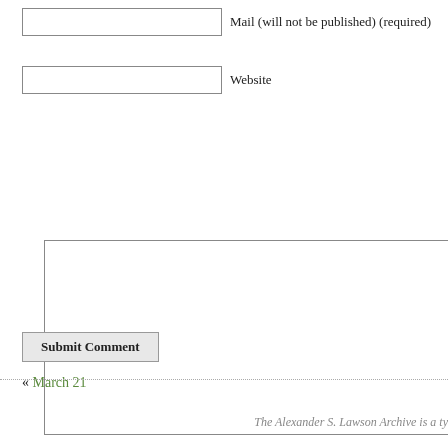Mail (will not be published) (required)
Website
Submit Comment
« March 21
The Alexander S. Lawson Archive is a ty